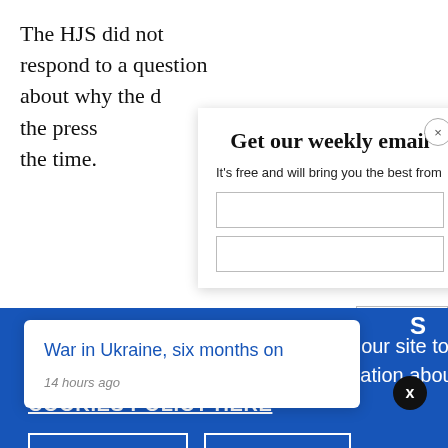The HJS did not respond to a question about why the d... the press... the time.
Get our weekly email
It's free and will bring you the best from
We use necessary cookies that allow our site to work. We also set optional cookies that help us improve our website. For more information about the types of cookies we use. READ OUR COOKIES POLICY HERE
COOKIE
ALLOW
War in Ukraine, six months on
14 hours ago
data.
S